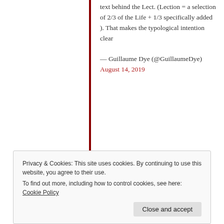text behind the Lect. (Lection = a selection of 2/3 of the Life + 1/3 specifically added ). That makes the typological intention clear
— Guillaume Dye (@GuillaumeDye) August 14, 2019
Privacy & Cookies: This site uses cookies. By continuing to use this website, you agree to their use.
To find out more, including how to control cookies, see here: Cookie Policy